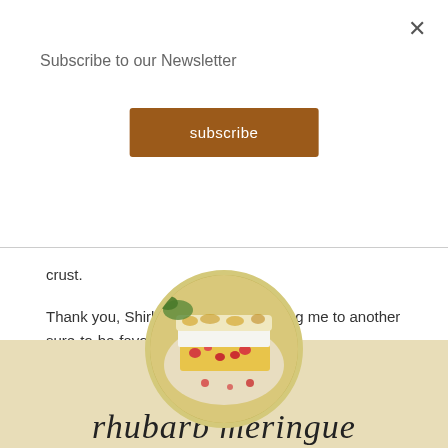Subscribe to our Newsletter
subscribe
crust.
Thank you, Shirley Doll, for introducing me to another sure-to-be-favourite family recipe.
[Figure (photo): Circular photo of a rhubarb meringue dessert slice on a decorative plate with meringue topping, shown from above against a light background.]
rhubarb meringue